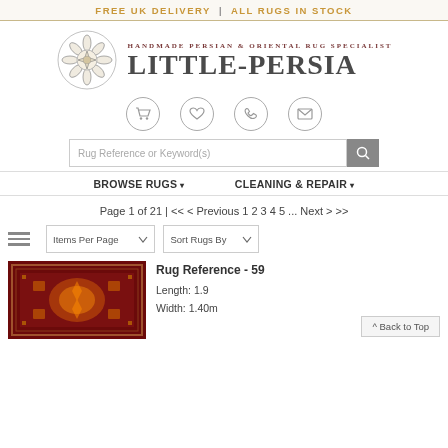FREE UK DELIVERY  |  ALL RUGS IN STOCK
[Figure (logo): Little-Persia logo with ornate flower emblem and text 'Handmade Persian & Oriental Rug Specialist / LITTLE-PERSIA']
[Figure (illustration): Navigation icons: shopping cart, heart/wishlist, phone, envelope/email in circular borders]
[Figure (screenshot): Search bar with placeholder text 'Rug Reference or Keyword(s)' and search button]
BROWSE RUGS ▾   CLEANING & REPAIR ▾
Page 1 of 21 | << < Previous 1 2 3 4 5 ... Next > >>
[Figure (screenshot): Items Per Page dropdown and Sort Rugs By dropdown controls with hamburger menu icon]
[Figure (photo): Product photo of a handmade Persian rug with red and dark geometric pattern]
Rug Reference - 59
Length: 1.9
Width: 1.40m
^ Back to Top